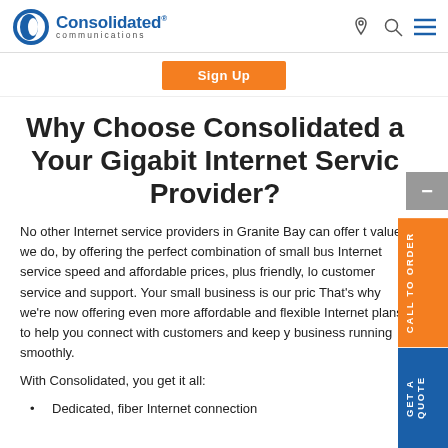Consolidated communications
Why Choose Consolidated as Your Gigabit Internet Service Provider?
No other Internet service providers in Granite Bay can offer the value we do, by offering the perfect combination of small business Internet service speed and affordable prices, plus friendly, local customer service and support. Your small business is our priority. That's why we're now offering even more affordable and flexible Internet plans to help you connect with customers and keep your business running smoothly.
With Consolidated, you get it all:
Dedicated, fiber Internet connection